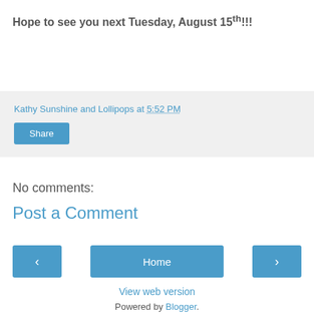Hope to see you next Tuesday, August 15th!!!
Kathy Sunshine and Lollipops at 5:52 PM
Share
No comments:
Post a Comment
Home
View web version
Powered by Blogger.